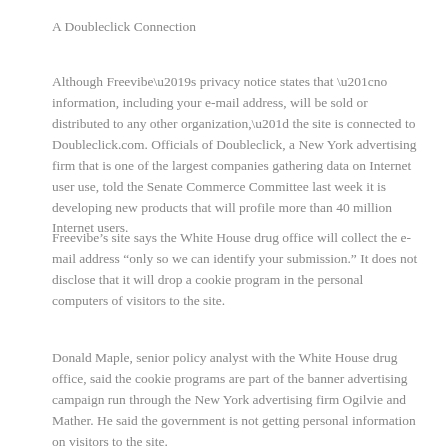A Doubleclick Connection
Although Freevibe’s privacy notice states that “no information, including your e-mail address, will be sold or distributed to any other organization,” the site is connected to Doubleclick.com. Officials of Doubleclick, a New York advertising firm that is one of the largest companies gathering data on Internet user use, told the Senate Commerce Committee last week it is developing new products that will profile more than 40 million Internet users.
Freevibe’s site says the White House drug office will collect the e-mail address “only so we can identify your submission.” It does not disclose that it will drop a cookie program in the personal computers of visitors to the site.
Donald Maple, senior policy analyst with the White House drug office, said the cookie programs are part of the banner advertising campaign run through the New York advertising firm Ogilvie and Mather. He said the government is not getting personal information on visitors to the site.